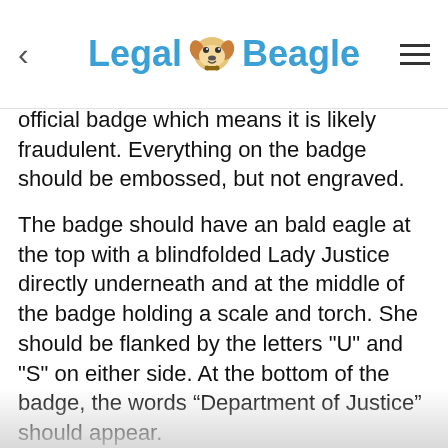Legal Beagle
official badge which means it is likely fraudulent. Everything on the badge should be embossed, but not engraved.
The badge should have an bald eagle at the top with a blindfolded Lady Justice directly underneath and at the middle of the badge holding a scale and torch. She should be flanked by the letters "U" and "S" on either side. At the bottom of the badge, the words “Department of Justice” should appear.
Make Sure to Check the I.D. Card
Accompanying the badge will be the agent's identification card. It will contain the agent's name, badge number and photo. Make sure the photo